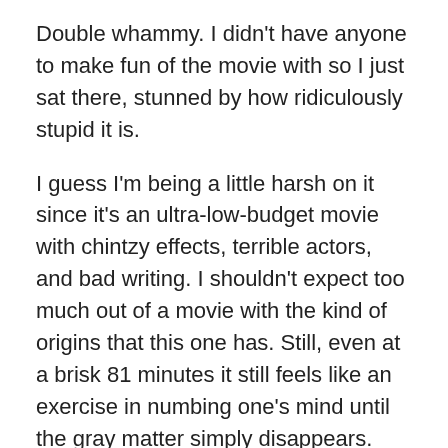Double whammy. I didn't have anyone to make fun of the movie with so I just sat there, stunned by how ridiculously stupid it is.
I guess I'm being a little harsh on it since it's an ultra-low-budget movie with chintzy effects, terrible actors, and bad writing. I shouldn't expect too much out of a movie with the kind of origins that this one has. Still, even at a brisk 81 minutes it still feels like an exercise in numbing one's mind until the gray matter simply disappears.
It's a waste of time, frankly, to sit down and watch this movie without any of the above suggestions being followed.
With a group of friends, preferably after a night of